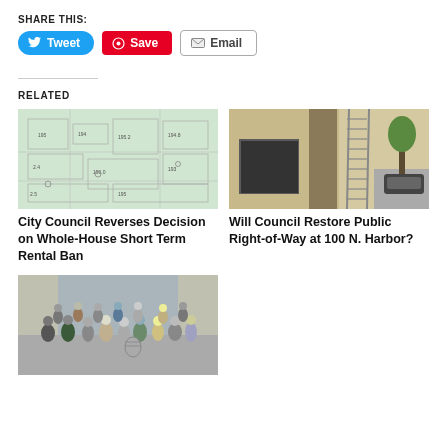SHARE THIS:
Tweet | Save | Email
RELATED
[Figure (photo): City map with district boundaries and parcel numbers]
City Council Reverses Decision on Whole-House Short Term Rental Ban
[Figure (photo): Street-level photo of building exterior at 100 N. Harbor with ladder leaning against wall]
Will Council Restore Public Right-of-Way at 100 N. Harbor?
[Figure (photo): Group of people standing outside a building]